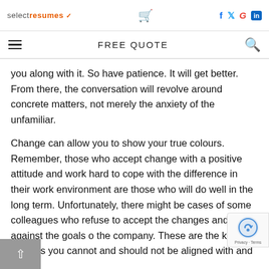selectresumes — FREE QUOTE
you along with it. So have patience. It will get better. From there, the conversation will revolve around concrete matters, not merely the anxiety of the unfamiliar.
Change can allow you to show your true colours. Remember, those who accept change with a positive attitude and work hard to cope with the difference in their work environment are those who will do well in the long term. Unfortunately, there might be cases of some colleagues who refuse to accept the changes and work against the goals of the company. These are the kinds of workers you cannot and should not be aligned with and the